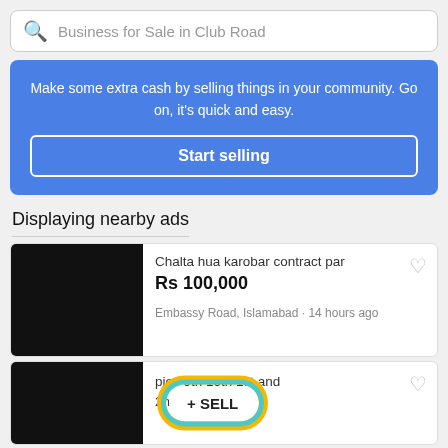Business for Sale in Club Road
Make some extra cash by selling things in your community. Go on, it's quick and easy.
Start selling
Displaying nearby ads
Chalta hua karobar contract par
Rs 100,000
Embassy Road, Islamabad · 14 hours ago
+ SELL
pies 9th 10th 1st and 2nd year